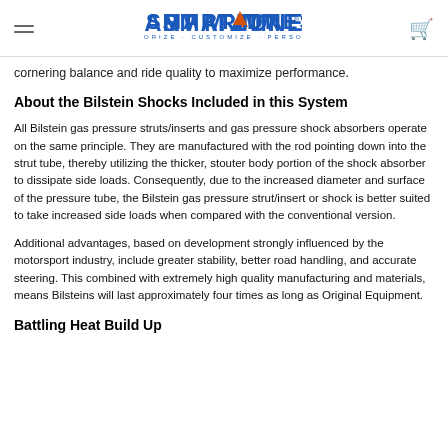Smart Madness — Accessorize · Customize · Personalize
cornering balance and ride quality to maximize performance.
About the Bilstein Shocks Included in this System
All Bilstein gas pressure struts/inserts and gas pressure shock absorbers operate on the same principle. They are manufactured with the rod pointing down into the strut tube, thereby utilizing the thicker, stouter body portion of the shock absorber to dissipate side loads. Consequently, due to the increased diameter and surface of the pressure tube, the Bilstein gas pressure strut/insert or shock is better suited to take increased side loads when compared with the conventional version.
Additional advantages, based on development strongly influenced by the motorsport industry, include greater stability, better road handling, and accurate steering. This combined with extremely high quality manufacturing and materials, means Bilsteins will last approximately four times as long as Original Equipment.
Battling Heat Build Up